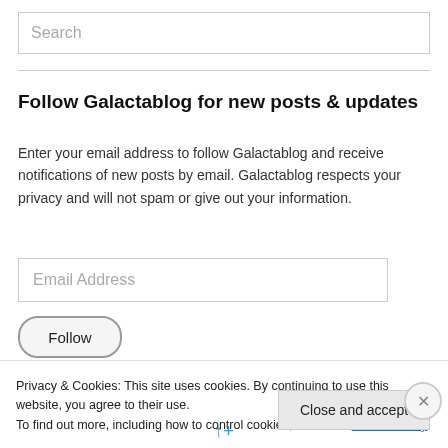Search
Follow Galactablog for new posts & updates
Enter your email address to follow Galactablog and receive notifications of new posts by email. Galactablog respects your privacy and will not spam or give out your information.
Email Address
Follow
Privacy & Cookies: This site uses cookies. By continuing to use this website, you agree to their use.
To find out more, including how to control cookies, see here: Cookie Policy
Close and accept